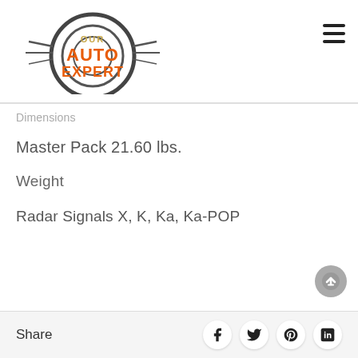[Figure (logo): Our Auto Expert logo with orange text and dark circular tire/wheel graphic]
Dimensions
Master Pack 21.60 lbs.
Weight
Radar Signals X, K, Ka, Ka-POP
Share